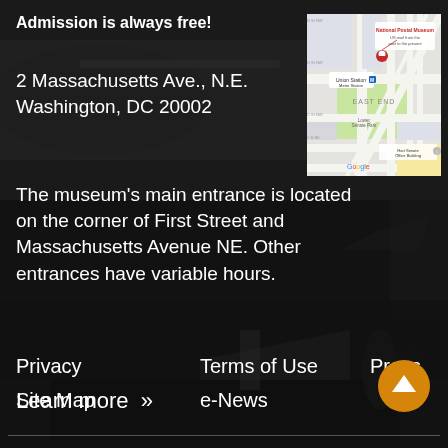Admission is always free!
[Figure (map): Google map showing National Postal Museum location near Union Station Metro Station, East End, Washington DC]
2 Massachusetts Ave., N.E.
Washington, DC 20002
The museum's main entrance is located on the corner of First Street and Massachusetts Avenue NE. Other entrances have variable hours.
Learn more »
Privacy
Terms of Use
Press
Site Map
e-News